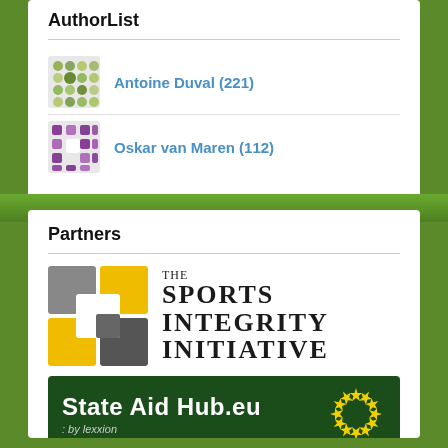AuthorList
Antoine Duval (221)
Oskar van Maren (112)
Partners
[Figure (logo): The Sports Integrity Initiative logo — geometric interlocking S-shape in yellow and grey, with text 'THE SPORTS INTEGRITY INITIATIVE']
[Figure (logo): StateAidHub.eu by lexxion logo — dark green background with white bold text and yellow EU stars]